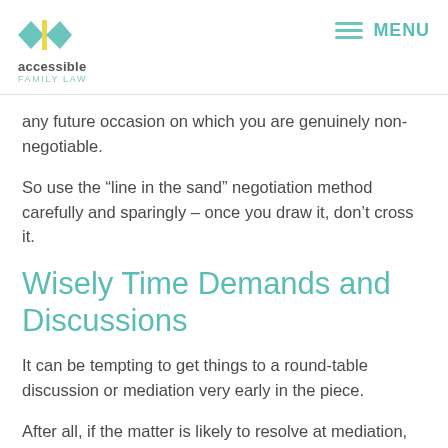accessible family law | MENU
any future occasion on which you are genuinely non-negotiable.
So use the “line in the sand” negotiation method carefully and sparingly – once you draw it, don’t cross it.
Wisely Time Demands and Discussions
It can be tempting to get things to a round-table discussion or mediation very early in the piece.
After all, if the matter is likely to resolve at mediation, why not hold the mediation earlier?